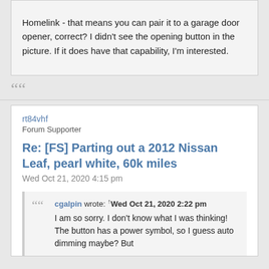Homelink - that means you can pair it to a garage door opener, correct? I didn't see the opening button in the picture. If it does have that capability, I'm interested.
““
rt84vhf
Forum Supporter
Re: [FS] Parting out a 2012 Nissan Leaf, pearl white, 60k miles
Wed Oct 21, 2020 4:15 pm
cgalpin wrote: ↑Wed Oct 21, 2020 2:22 pm
I am so sorry. I don't know what I was thinking! The button has a power symbol, so I guess auto dimming maybe? But